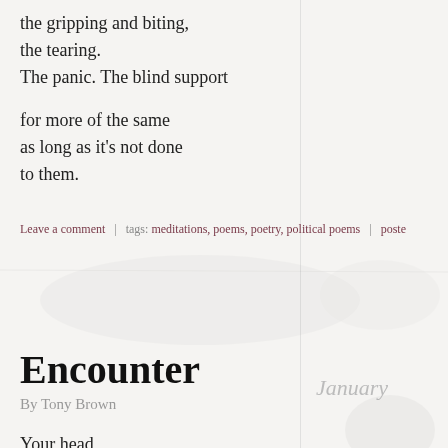the gripping and biting,
the tearing.
The panic. The blind support
for more of the same
as long as it's not done
to them.
Leave a comment  |  tags: meditations, poems, poetry, political poems | poste
Encounter
By Tony Brown
Your head
wants to know what to do next,